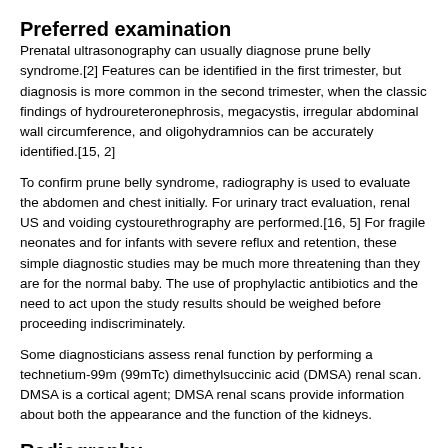Preferred examination
Prenatal ultrasonography can usually diagnose prune belly syndrome.[2] Features can be identified in the first trimester, but diagnosis is more common in the second trimester, when the classic findings of hydroureteronephrosis, megacystis, irregular abdominal wall circumference, and oligohydramnios can be accurately identified.[15, 2]
To confirm prune belly syndrome, radiography is used to evaluate the abdomen and chest initially. For urinary tract evaluation, renal US and voiding cystourethrography are performed.[16, 5] For fragile neonates and for infants with severe reflux and retention, these simple diagnostic studies may be much more threatening than they are for the normal baby. The use of prophylactic antibiotics and the need to act upon the study results should be weighed before proceeding indiscriminately.
Some diagnosticians assess renal function by performing a technetium-99m (99mTc) dimethylsuccinic acid (DMSA) renal scan. DMSA is a cortical agent; DMSA renal scans provide information about both the appearance and the function of the kidneys.
Radiography
Radiographic findings in prune belly syndrome are as follows:
Chest: Hypoplastic lungs, flaring of the lower ribs secondary to the distended abdomen is seen (see the image below).